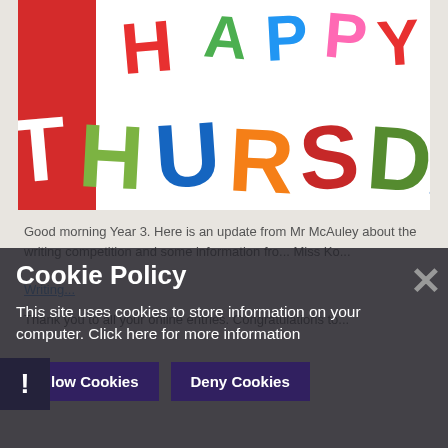[Figure (illustration): Colorful 'Happy Thursday' text illustration with large playful letters in red, green, blue, orange, and pink on white background]
Good morning Year 3. Here is an update from Mr McAuley about the writing competition and some information fro... Miss Ko...
Writing...
Thank you to all your online entries. Congratulations to...
Cookie Policy
This site uses cookies to store information on your computer. Click here for more information
Allow Cookies
Deny Cookies